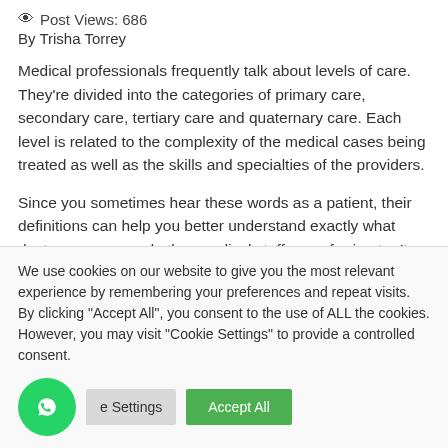Post Views: 686
By Trisha Torrey
Medical professionals frequently talk about levels of care. They're divided into the categories of primary care, secondary care, tertiary care and quaternary care. Each level is related to the complexity of the medical cases being treated as well as the skills and specialties of the providers.
Since you sometimes hear these words as a patient, their definitions can help you better understand exactly what doctors, nurses and other medical staff are referring to. It can
We use cookies on our website to give you the most relevant experience by remembering your preferences and repeat visits. By clicking "Accept All", you consent to the use of ALL the cookies. However, you may visit "Cookie Settings" to provide a controlled consent.